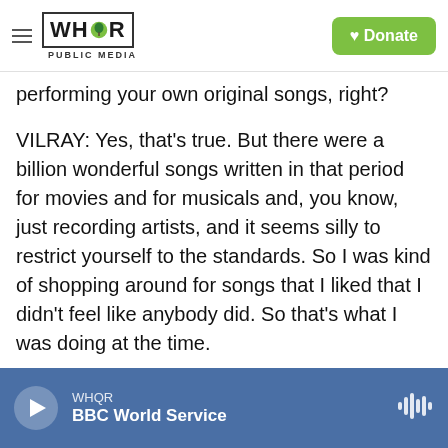WHQR PUBLIC MEDIA | Donate
performing your own original songs, right?
VILRAY: Yes, that's true. But there were a billion wonderful songs written in that period for movies and for musicals and, you know, just recording artists, and it seems silly to restrict yourself to the standards. So I was kind of shopping around for songs that I liked that I didn't feel like anybody did. So that's what I was doing at the time.
BRIGER: Can you give us an example of one of those more obscure songs from that period?
VILRAY: I think one of my favorites is, like, Rudy
WHQR | BBC World Service